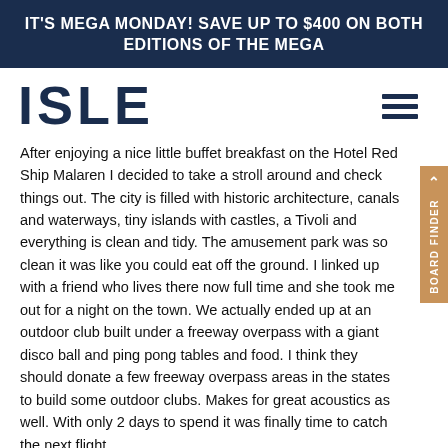IT'S MEGA MONDAY! SAVE UP TO $400 ON BOTH EDITIONS OF THE MEGA
[Figure (logo): ISLE brand logo in large bold dark navy letters, and a hamburger menu icon on the right]
After enjoying a nice little buffet breakfast on the Hotel Red Ship Malaren I decided to take a stroll around and check things out. The city is filled with historic architecture, canals and waterways, tiny islands with castles, a Tivoli and everything is clean and tidy. The amusement park was so clean it was like you could eat off the ground. I linked up with a friend who lives there now full time and she took me out for a night on the town. We actually ended up at an outdoor club built under a freeway overpass with a giant disco ball and ping pong tables and food. I think they should donate a few freeway overpass areas in the states to build some outdoor clubs. Makes for great acoustics as well. With only 2 days to spend it was finally time to catch the next flight.